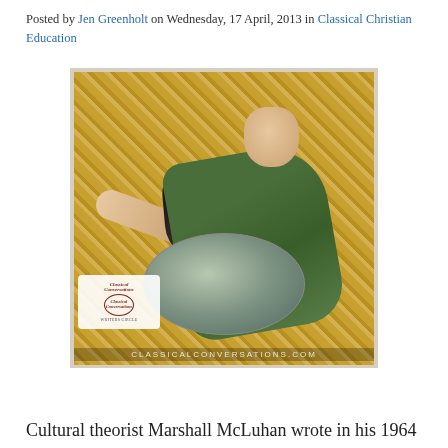Posted by Jen Greenholt on Wednesday, 17 April, 2013 in Classical Christian Education
[Figure (photo): A classical painting detail showing a figure in a green and dark robe leaning over a globe, set against a golden mosaic background. The image has a 'Classical Conversations Writers Circle' logo in the lower left and 'CLASSICALCONVERSATIONS.COM' text along the bottom.]
Cultural theorist Marshall McLuhan wrote in his 1964